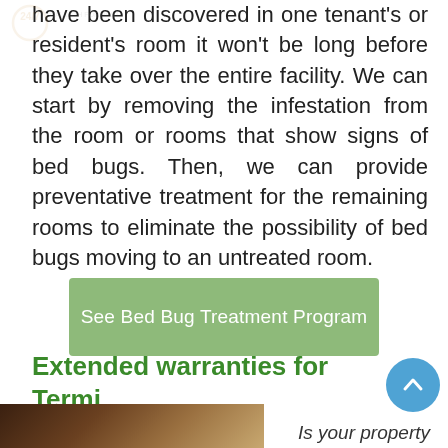have been discovered in one tenant's or resident's room it won't be long before they take over the entire facility. We can start by removing the infestation from the room or rooms that show signs of bed bugs. Then, we can provide preventative treatment for the remaining rooms to eliminate the possibility of bed bugs moving to an untreated room.
See Bed Bug Treatment Program
Extended warranties for Termite control.
[Figure (photo): Partial photo at bottom left of page, showing a brown/tan textured surface]
Is your property